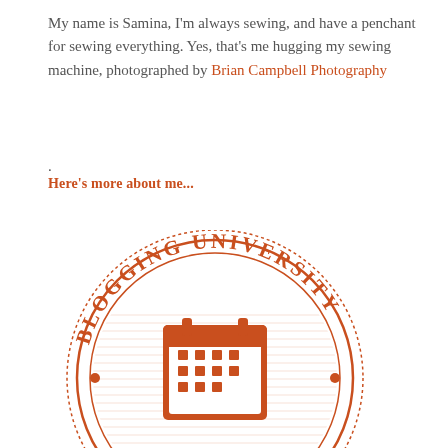My name is Samina, I'm always sewing, and have a penchant for sewing everything. Yes, that's me hugging my sewing machine, photographed by Brian Campbell Photography
.
Here's more about me...
[Figure (logo): Blogging University - Blogging 101 circular badge/seal with a calendar icon in the center, rendered in burnt orange on white]